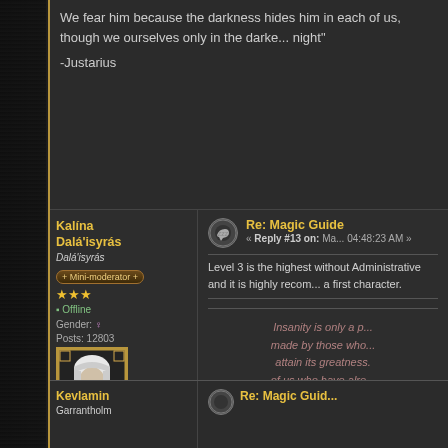We fear him because the darkness hides him in each of us, though we ourselves only in the darkest hour of night"

-Justarius
Kalína Dalá'isyrás
Dalá'isyrás
+ Mini-moderator +
★★★
☐ Offline
Gender: ♀
Posts: 12803
High Elf, Kayrrhem
Re: Magic Guide
« Reply #13 on: Ma... 04:48:23 AM »
Level 3 is the highest without Administrative and it is highly recom... a first character.
Insanity is only a p... made by those who... attain its greatness. of us who have alre... inside its bounds fin... utter madne...
Nai'r en'Lina ar'...
Kevlamin
Garrantholm
Re: Magic Guid...